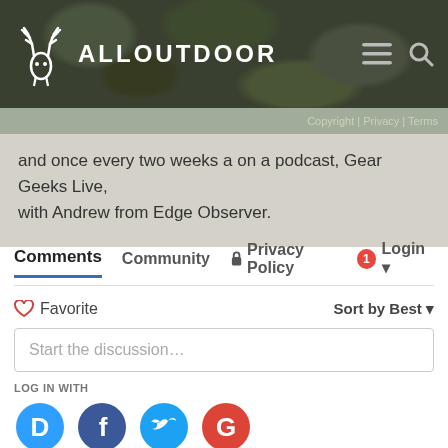ALLOUTDOOR — Copyright | Privacy | Terms
and once every two weeks a on a podcast, Gear Geeks Live, with Andrew from Edge Observer.
Comments  Community  Privacy Policy  Login
Favorite  Sort by Best
Start the discussion...
LOG IN WITH
[Figure (illustration): Social login icons: Disqus (blue speech bubble with D), Facebook (dark blue circle with F), Twitter (cyan circle with bird), Google (red circle with G)]
OR SIGN UP WITH DISQUS ?
Name